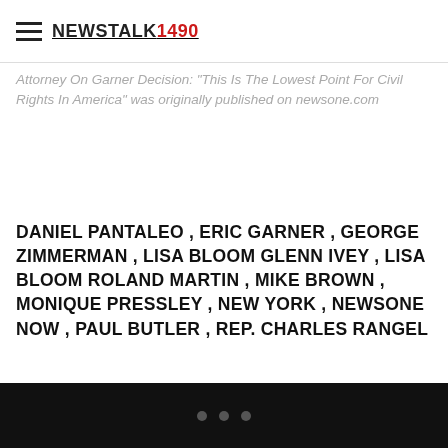NEWS TALK 1490
Attorney On Garner Decision: "This Is The Lowest Point For Civil Rights In America" was originally published on newsone.com
DANIEL PANTALEO , ERIC GARNER , GEORGE ZIMMERMAN , LISA BLOOM GLENN IVEY , LISA BLOOM ROLAND MARTIN , MIKE BROWN , MONIQUE PRESSLEY , NEW YORK , NEWSONE NOW , PAUL BUTLER , REP. CHARLES RANGEL